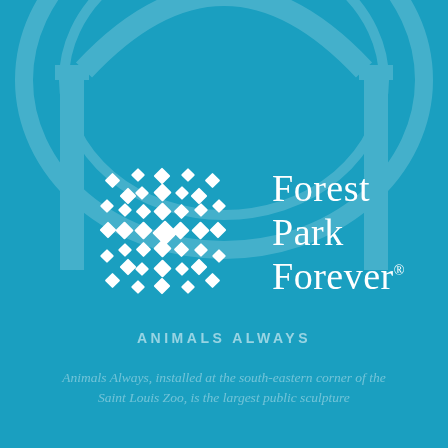[Figure (logo): Forest Park Forever logo: a circular pattern of white diamond/square shapes arranged in concentric rings forming a mandala-like design, next to the text 'Forest Park Forever®' in white serif font]
ANIMALS ALWAYS
Animals Always, installed at the south-eastern corner of the Saint Louis Zoo, is the largest public sculpture